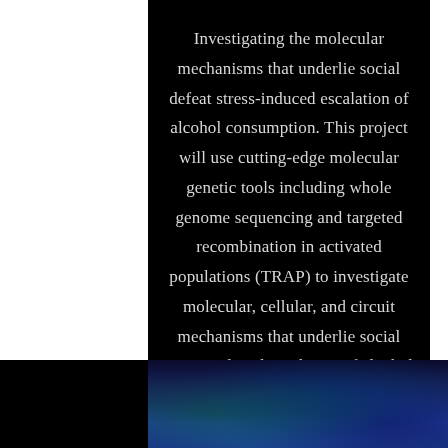Investigating the molecular mechanisms that underlie social defeat stress-induced escalation of alcohol consumption. This project will use cutting-edge molecular genetic tools including whole genome sequencing and targeted recombination in activated populations (TRAP) to investigate molecular, cellular, and circuit mechanisms that underlie social stress-induced escalation of alcohol consumption. We will also explore the role of the Kappa/Dynorphin system in mediating stress-induced escalation of alcohol intake.
[Figure (photo): Microscopy image with blue and green fluorescent staining on dark background, likely brain tissue imaging.]